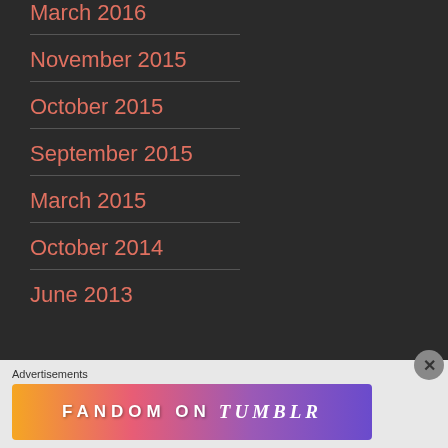March 2016
November 2015
October 2015
September 2015
March 2015
October 2014
June 2013
Advertisements
[Figure (infographic): Fandom on Tumblr advertisement banner with colorful gradient background]